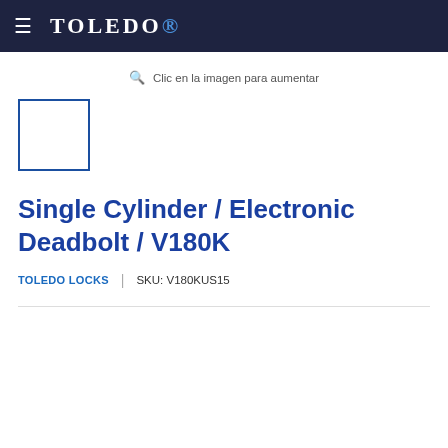≡ TOLEDO®
🔍 Clic en la imagen para aumentar
[Figure (other): Small product thumbnail placeholder box with blue border]
Single Cylinder / Electronic Deadbolt / V180K
TOLEDO LOCKS  |  SKU: V180KUS15